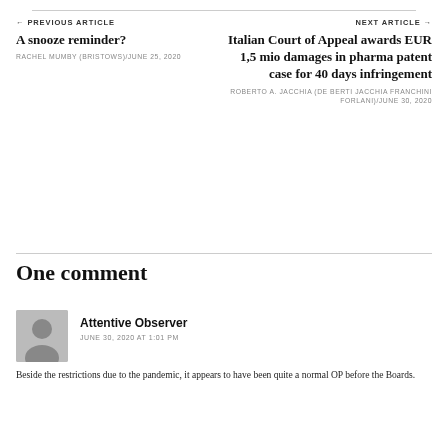← PREVIOUS ARTICLE
A snooze reminder?
RACHEL MUMBY (BRISTOWS)/JUNE 25, 2020
NEXT ARTICLE →
Italian Court of Appeal awards EUR 1,5 mio damages in pharma patent case for 40 days infringement
ROBERTO A. JACCHIA (DE BERTI JACCHIA FRANCHINI FORLANI)/JUNE 30, 2020
One comment
Attentive Observer
JUNE 30, 2020 AT 1:01 PM
Beside the restrictions due to the pandemic, it appears to have been quite a normal OP before the Boards.